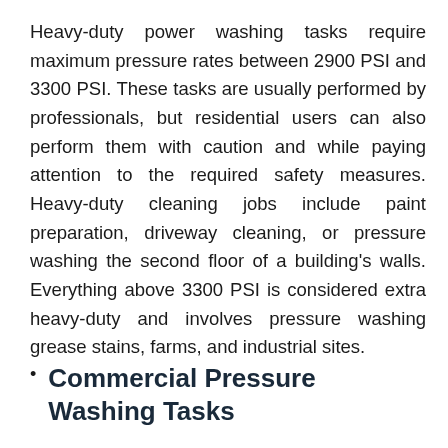Heavy-duty power washing tasks require maximum pressure rates between 2900 PSI and 3300 PSI. These tasks are usually performed by professionals, but residential users can also perform them with caution and while paying attention to the required safety measures. Heavy-duty cleaning jobs include paint preparation, driveway cleaning, or pressure washing the second floor of a building's walls. Everything above 3300 PSI is considered extra heavy-duty and involves pressure washing grease stains, farms, and industrial sites.
Commercial Pressure Washing Tasks